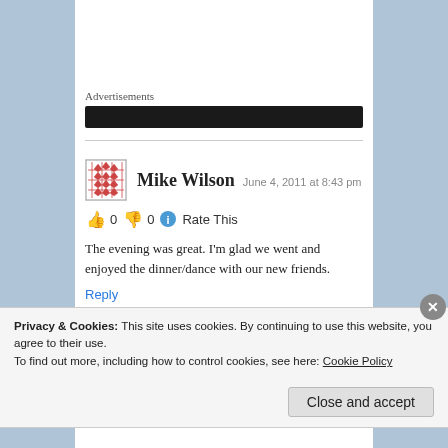Advertisements
Mike Wilson  June 4, 2011 at 8:43 pm
👍 0 👎 0 ℹ Rate This
The evening was great. I'm glad we went and enjoyed the dinner/dance with our new friends.
Reply
Privacy & Cookies: This site uses cookies. By continuing to use this website, you agree to their use.
To find out more, including how to control cookies, see here: Cookie Policy
Close and accept